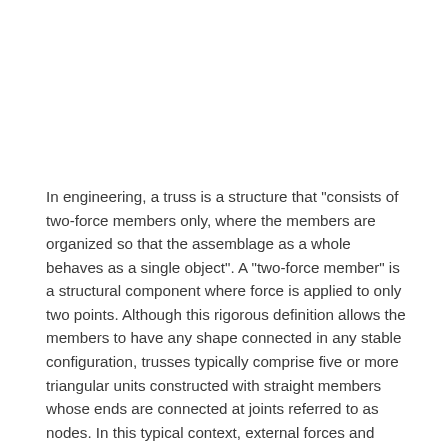In engineering, a truss is a structure that "consists of two-force members only, where the members are organized so that the assemblage as a whole behaves as a single object". A "two-force member" is a structural component where force is applied to only two points. Although this rigorous definition allows the members to have any shape connected in any stable configuration, trusses typically comprise five or more triangular units constructed with straight members whose ends are connected at joints referred to as nodes. In this typical context, external forces and reactions to those forces are considered to act only at the nodes and result in forces in the members that are either tensile or compressive. For straight members, moments (torques) are explicitly excluded because, and only because, all the joints in a truss are treated as revolutes, as is necessary for the links to be two-